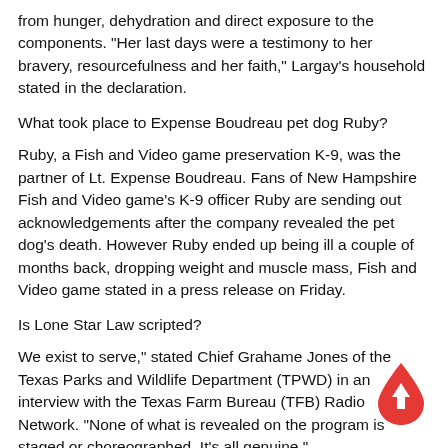from hunger, dehydration and direct exposure to the components. "Her last days were a testimony to her bravery, resourcefulness and her faith," Largay's household stated in the declaration.
What took place to Expense Boudreau pet dog Ruby?
Ruby, a Fish and Video game preservation K-9, was the partner of Lt. Expense Boudreau. Fans of New Hampshire Fish and Video game's K-9 officer Ruby are sending out acknowledgements after the company revealed the pet dog's death. However Ruby ended up being ill a couple of months back, dropping weight and muscle mass, Fish and Video game stated in a press release on Friday.
Is Lone Star Law scripted?
We exist to serve," stated Chief Grahame Jones of the Texas Parks and Wildlife Department (TPWD) in an interview with the Texas Farm Bureau (TFB) Radio Network. "None of what is revealed on the program is staged or choreographed. It's all genuine."
[Figure (illustration): A red teardrop/water drop shaped icon with a white upward arrow in the center, serving as a floating action button in the bottom right corner.]